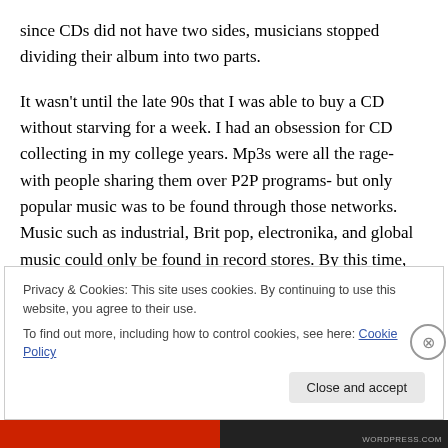since CDs did not have two sides, musicians stopped dividing their album into two parts.
It wasn't until the late 90s that I was able to buy a CD without starving for a week. I had an obsession for CD collecting in my college years. Mp3s were all the rage- with people sharing them over P2P programs- but only popular music was to be found through those networks. Music such as industrial, Brit pop, electronika, and global music could only be found in record stores. By this time, record stores were carrying little or no cassette tapes.
Privacy & Cookies: This site uses cookies. By continuing to use this website, you agree to their use.
To find out more, including how to control cookies, see here: Cookie Policy